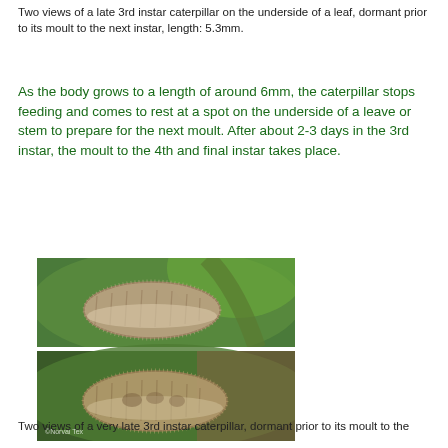Two views of a late 3rd instar caterpillar on the underside of a leaf, dormant prior to its moult to the next instar, length: 5.3mm.
As the body grows to a length of around 6mm, the caterpillar stops feeding and comes to rest at a spot on the underside of a leave or stem to prepare for the next moult. After about 2-3 days in the 3rd instar, the moult to the 4th and final instar takes place.
[Figure (photo): Two stacked photographs of a late 3rd instar caterpillar resting dormant on the underside of a green leaf. The caterpillar is small, brownish-grey, segmented, with fine hairs. Top image shows side view; bottom image shows a slightly different angle. Watermark reads '©Norval Tex'.]
Two views of a very late 3rd instar caterpillar, dormant prior to its moult to the